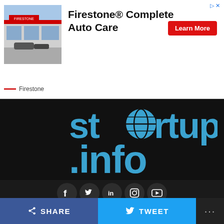[Figure (screenshot): Ad banner for Firestone Complete Auto Care showing a Firestone store exterior photo on the left, bold text 'Firestone® Complete Auto Care' in the center, a red 'Learn More' button on the right, and the Firestone logo/brand name at the bottom left of the ad.]
[Figure (logo): startup.info logo on black background showing 'startup.info' text in blue with a globe icon replacing the 'o' in startup]
[Figure (infographic): Row of social media icons (Facebook, Twitter, LinkedIn, Instagram, YouTube) as white icons in dark circular buttons on dark background]
HOME   RESOURCES   LIFESTYLE   NEWS   INNOVATORS VS COVID 19
CONTACT US
[Figure (infographic): Share bar at bottom with blue Facebook SHARE button, light blue Twitter TWEET button, and dark more options button with ellipsis]